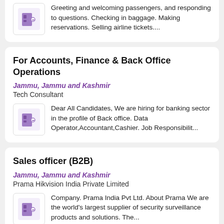Greeting and welcoming passengers, and responding to questions. Checking in baggage. Making reservations. Selling airline tickets....
For Accounts, Finance & Back Office Operations
Jammu, Jammu and Kashmir
Tech Consultant
Dear All Candidates, We are hiring for banking sector in the profile of Back office. Data Operator,Accountant,Cashier. Job Responsibilit...
Sales officer (B2B)
Jammu, Jammu and Kashmir
Prama Hikvision India Private Limited
Company. Prama India Pvt Ltd. About Prama We are the world's largest supplier of security surveillance products and solutions. The...